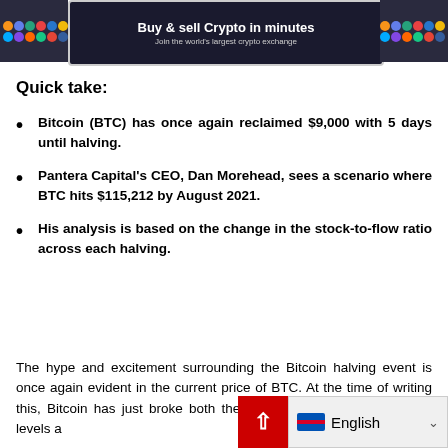[Figure (other): Advertisement banner for a crypto exchange: 'Buy & sell Crypto in minutes. Join the world's largest crypto exchange.' with colorful crypto icons on both sides.]
Quick take:
Bitcoin (BTC) has once again reclaimed $9,000 with 5 days until halving.
Pantera Capital's CEO, Dan Morehead, sees a scenario where BTC hits $115,212 by August 2021.
His analysis is based on the change in the stock-to-flow ratio across each halving.
The hype and excitement surrounding the Bitcoin halving event is once again evident in the current price of BTC. At the time of writing this, Bitcoin has just broke both the $9,000 and $9,100 resistance levels a